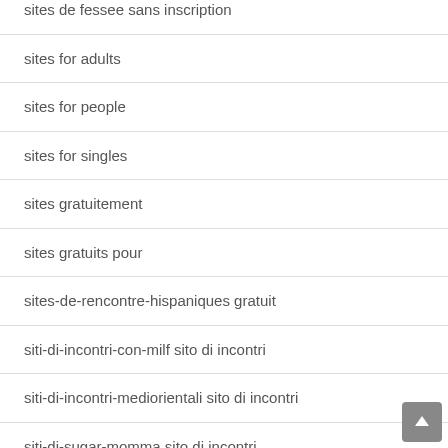sites de fessee sans inscription
sites for adults
sites for people
sites for singles
sites gratuitement
sites gratuits pour
sites-de-rencontre-hispaniques gratuit
siti-di-incontri-con-milf sito di incontri
siti-di-incontri-mediorientali sito di incontri
siti-di-sugar-momma sito di incontri
sitios-de-citas-de-ets como funciona
sitios-de-citas-espirituales gratis
sitios-de-citas-introvertidos web